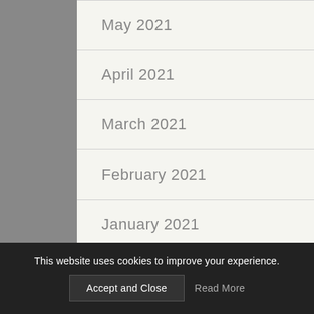May 2021
April 2021
March 2021
February 2021
January 2021
December 2020
November 2020
October 2020
This website uses cookies to improve your experience.
Accept and Close
Read More